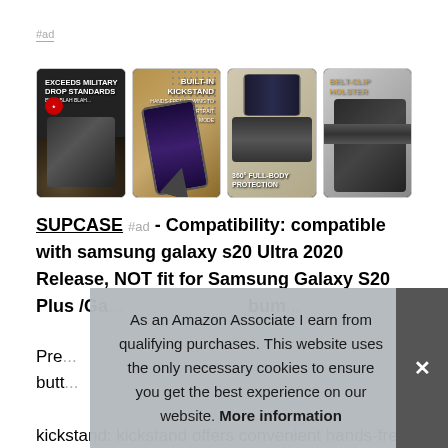#ad
[Figure (photo): Four product images of SUPCASE phone case: 1) Exceeds Military Drop Standards badge, 2) Built-In Kickstand with phone propped at angle, 3) 360° Full-Body Protection showing phone and case, 4) Belt-Clip Holster on belt]
SUPCASE #ad - Compatibility: compatible with samsung galaxy s20 Ultra 2020 Release, NOT fit for Samsung Galaxy S20 Plus /Ga... bum...
Pre... butt... kickstand: kickstand offers convenient hands-free viewing
As an Amazon Associate I earn from qualifying purchases. This website uses the only necessary cookies to ensure you get the best experience on our website. More information